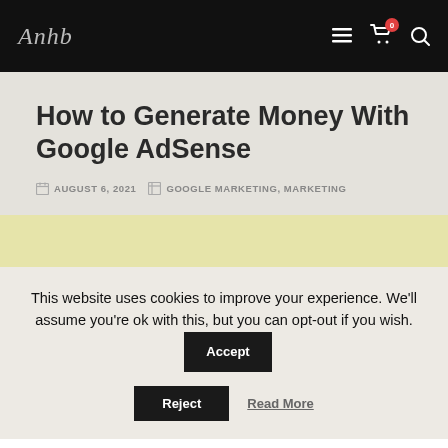Navigation bar with logo and icons
How to Generate Money With Google AdSense
AUGUST 6, 2021   GOOGLE MARKETING, MARKETING
This website uses cookies to improve your experience. We'll assume you're ok with this, but you can opt-out if you wish. Accept Reject Read More